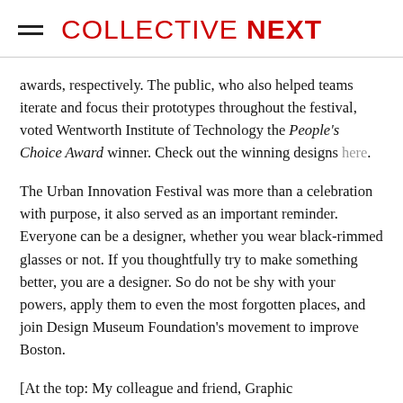COLLECTIVE NEXT
awards, respectively. The public, who also helped teams iterate and focus their prototypes throughout the festival, voted Wentworth Institute of Technology the People's Choice Award winner. Check out the winning designs here.
The Urban Innovation Festival was more than a celebration with purpose, it also served as an important reminder. Everyone can be a designer, whether you wear black-rimmed glasses or not. If you thoughtfully try to make something better, you are a designer. So do not be shy with your powers, apply them to even the most forgotten places, and join Design Museum Foundation's movement to improve Boston.
[At the top: My colleague and friend, Graphic